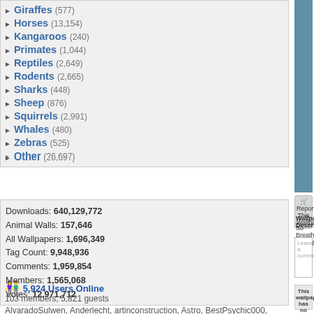Giraffes (577)
Horses (13,154)
Kangaroos (240)
Primates (1,044)
Reptiles (2,649)
Rodents (2,665)
Sharks (448)
Sheep (876)
Squirrels (2,991)
Whales (480)
Zebras (525)
Other (26,697)
Downloads: 640,129,772
Animal Walls: 157,646
All Wallpapers: 1,696,349
Tag Count: 9,948,936
Comments: 1,959,854
Members: 1,565,068
Votes: 12,971,712
5,924 Users Online
103 members, 5,821 guests
AlvaradoSulwen, Anderlecht, artinconstruction, Astro, BestPsychic000, bmpressurewashing2, Boatent98, boliou, brandbajade, bridgecounseling, brighterfinance, CarrollDentistry, cell-phone-hacking, chatonfragile, Cleaners567, ColbyRichardson,
[Figure (photo): Blue-toned photo of a figure with outstretched arm, appears to be an Avatar movie wallpaper]
Report This Wallpaper
Add To F
Wallpaper Description:
So Breath Taking:
Leave a comment...
This wallpaper has no comm